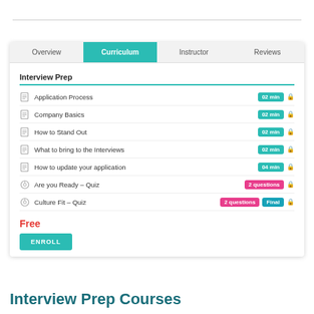[Figure (screenshot): Course curriculum interface showing tabs: Overview, Curriculum (active), Instructor, Reviews. Section 'Interview Prep' with 7 items: Application Process 02 min, Company Basics 02 min, How to Stand Out 02 min, What to bring to the Interviews 02 min, How to update your application 04 min, Are you Ready - Quiz 2 questions, Culture Fit - Quiz 2 questions Final. Below: Free label and ENROLL button.]
Interview Prep Courses